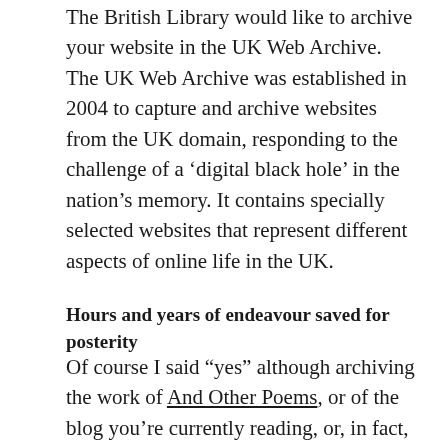The British Library would like to archive your website in the UK Web Archive. The UK Web Archive was established in 2004 to capture and archive websites from the UK domain, responding to the challenge of a ‘digital black hole’ in the nation’s memory. It contains specially selected websites that represent different aspects of online life in the UK.
Hours and years of endeavour saved for posterity
Of course I said “yes” although archiving the work of And Other Poems, or of the blog you’re currently reading, or, in fact, of any blog or